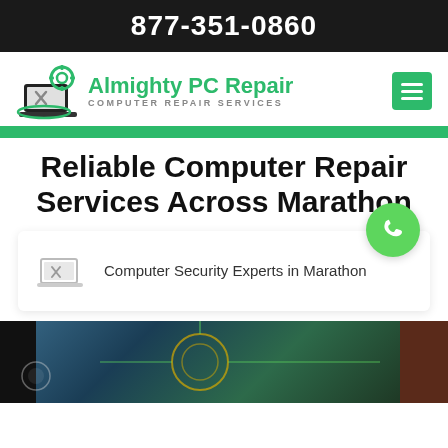877-351-0860
[Figure (logo): Almighty PC Repair logo with laptop and gear icon, green text reading 'Almighty PC Repair' and subtitle 'COMPUTER REPAIR SERVICES', plus green hamburger menu button]
Reliable Computer Repair Services Across Marathon
Computer Security Experts in Marathon
[Figure (photo): Blurred background photo showing a person with circuit board light pattern overlay, dark tones with green/teal highlights]